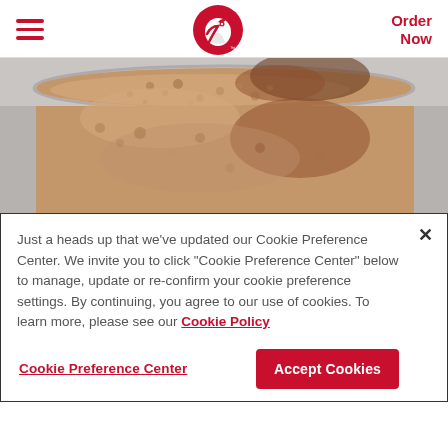Chick-fil-A navigation bar with hamburger menu, logo, and Order Now link
[Figure (photo): Close-up overhead photo of a frothy coffee or hot chocolate drink in a glass, with foam bubbles visible on the surface, on a light gray background.]
Just a heads up that we've updated our Cookie Preference Center. We invite you to click "Cookie Preference Center" below to manage, update or re-confirm your cookie preference settings. By continuing, you agree to our use of cookies. To learn more, please see our Cookie Policy
Cookie Preference Center
Accept Cookies